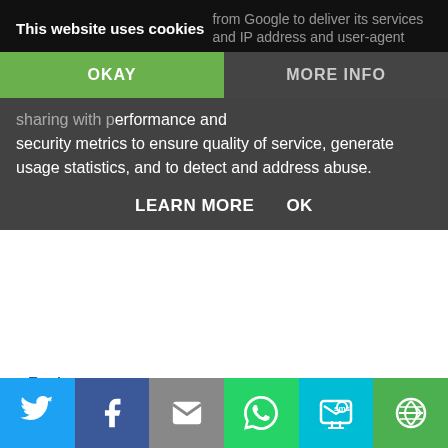This website uses cookies
...from Google to deliver its services and IP address and user-agent sharing with performance and security metrics to ensure quality of service, generate usage statistics, and to detect and address abuse.
OKAY
MORE INFO
LEARN MORE   OK
Reply
KT  29 March 2017 at 08:36
The Italian
Reply
Jane H Shaw  29 March 2017 at 12:27
Would love to try Kenyan Pure Origin thanks